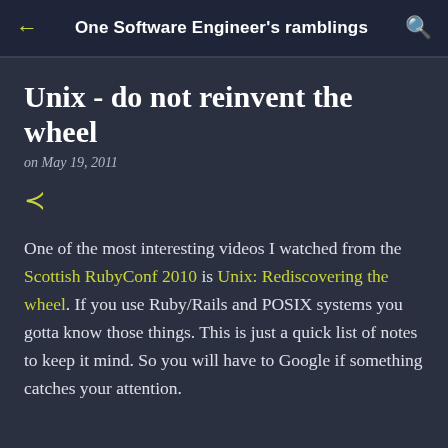One Software Engineer's ramblings
Unix - do not reinvent the wheel
on May 19, 2011
One of the most interesting videos I watched from the Scottish RubyConf 2010 is Unix: Rediscovering the wheel. If you use Ruby/Rails and POSIX systems you gotta know those things. This is just a quick list of notes to keep it mind. So you will have to Google if something catches your attention.